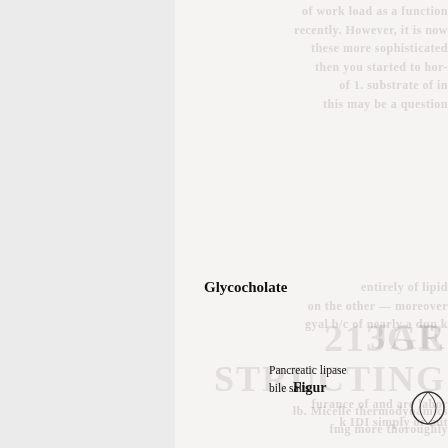Glycocholate
Figur
Pancreatic lipase
bile salts